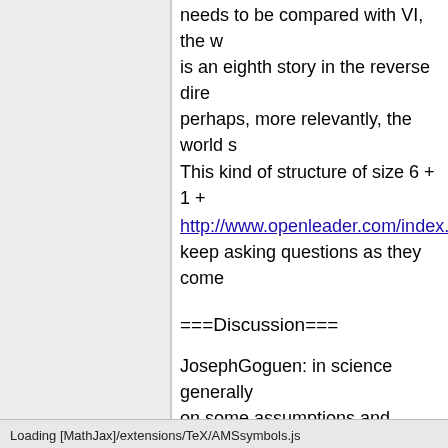needs to be compared with VI, the w... is an eighth story in the reverse dire... perhaps, more relevantly, the world s... This kind of structure of size 6 + 1 +
http://www.openleader.com/index.ph... keep asking questions as they come
===Discussion===
JosephGoguen: in science generally on some assumptions and theory. fo relationships of subordination, and th discourse theory makes similar assu categories? one might also ask wha is mainly in computer-based synthes greeting cards, ...).
AndriusKulikauskas: Hi Joseph, [http empirical method.
In particular, pages [ 7], [ 8], [ 9]: des created and relaxed.
Loading [MathJax]/extensions/TeX/AMSsymbols.js